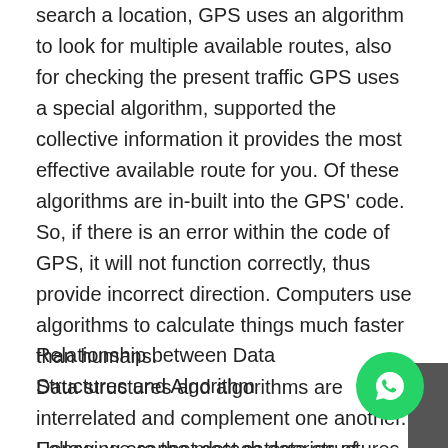search a location, GPS uses an algorithm to look for multiple available routes, also for checking the present traffic GPS uses a special algorithm, supported the collective information it provides the most effective available route for you. Of these algorithms are in-built into the GPS' code. So, if there is an error within the code of GPS, it will not function correctly, thus provide incorrect direction. Computers use algorithms to calculate things much faster than humans.
Relationship between Data Structures and Algorithm
Data structures and algorithms are interrelated and complement one another. Hence, we cannot detach data structures and algorithms.
Following are the most categories of algorithms about data structures: